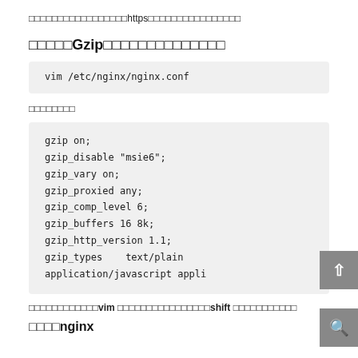□□□□□□□□□□□□□□□□□https□□□□□□□□□□□□□□□□
□□□□□Gzip□□□□□□□□□□□□□□
vim /etc/nginx/nginx.conf
□□□□□□□□
gzip on;
gzip_disable "msie6";
gzip_vary on;
gzip_proxied any;
gzip_comp_level 6;
gzip_buffers 16 8k;
gzip_http_version 1.1;
gzip_types    text/plain application/javascript appli
□□□□□□□□□□□□vim □□□□□□□□□□□□□□□□shift □□□□□□□□□□□
□□□□nginx